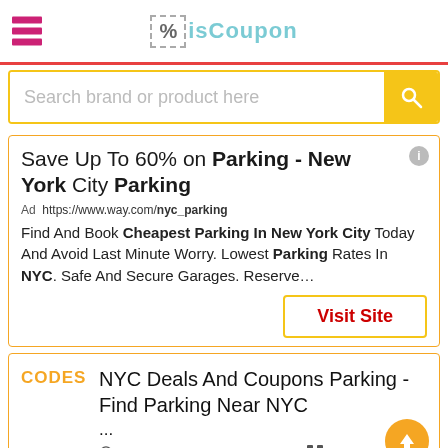isCoupon logo with hamburger menu
Search brand or product here
Save Up To 60% on Parking - New York City Parking
Ad https://www.way.com/nyc_parking
Find And Book Cheapest Parking In New York City Today And Avoid Last Minute Worry. Lowest Parking Rates In NYC. Safe And Secure Garages. Reserve...
Visit Site
CODES  NYC Deals And Coupons Parking - Find Parking Near NYC ...
1 year ago  166 used  Verified